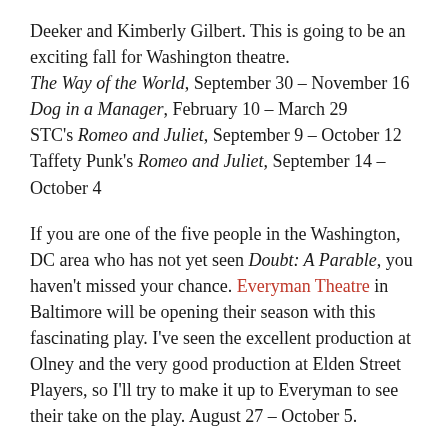Deeker and Kimberly Gilbert. This is going to be an exciting fall for Washington theatre.
The Way of the World, September 30 – November 16
Dog in a Manager, February 10 – March 29
STC's Romeo and Juliet, September 9 – October 12
Taffety Punk's Romeo and Juliet, September 14 – October 4
If you are one of the five people in the Washington, DC area who has not yet seen Doubt: A Parable, you haven't missed your chance. Everyman Theatre in Baltimore will be opening their season with this fascinating play. I've seen the excellent production at Olney and the very good production at Elden Street Players, so I'll try to make it up to Everyman to see their take on the play. August 27 – October 5.
CenterStage in Baltimore has a couple new works I'm excited about. First is Fabulation or: The Re-education of